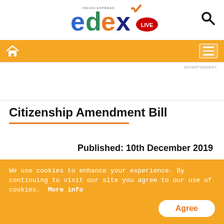[Figure (logo): Edex Live logo with Indian Express branding - colorful letters e, d, e, x with a checkmark, and LIVE badge]
[Figure (screenshot): Orange navigation bar with home icon on left and hamburger menu on right]
ADVERTISEMENT
Citizenship Amendment Bill
Published: 10th December 2019
We use cookies to enhance your experience. By continuing to visit our site you agree to our use of cookies.  More info